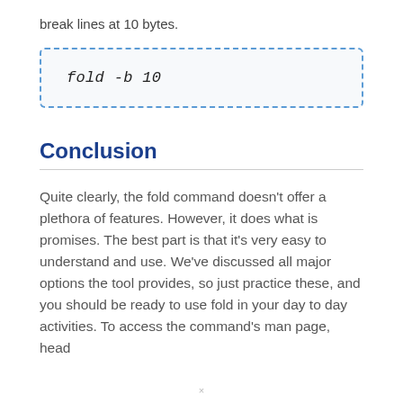break lines at 10 bytes.
Conclusion
Quite clearly, the fold command doesn't offer a plethora of features. However, it does what is promises. The best part is that it's very easy to understand and use. We've discussed all major options the tool provides, so just practice these, and you should be ready to use fold in your day to day activities. To access the command's man page, head